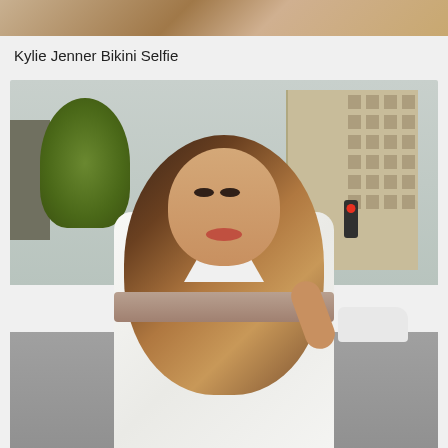[Figure (photo): Partial view of a person's lower body, cropped at top of page]
Kylie Jenner Bikini Selfie
[Figure (photo): A young woman with long wavy brunette-blonde hair wearing a low-cut white dress with a tan/brown belt, standing on a city street with buildings and trees in the background]